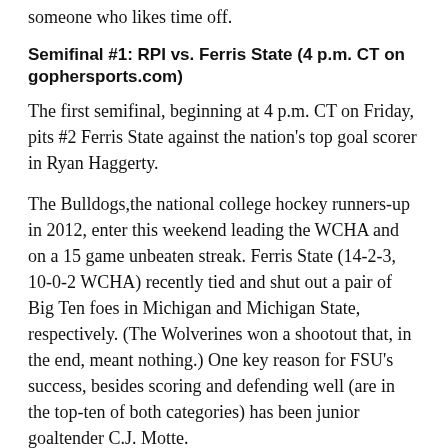someone who likes time off.
Semifinal #1: RPI vs. Ferris State (4 p.m. CT on gophersports.com)
The first semifinal, beginning at 4 p.m. CT on Friday, pits #2 Ferris State against the nation's top goal scorer in Ryan Haggerty.
The Bulldogs,the national college hockey runners-up in 2012, enter this weekend leading the WCHA and on a 15 game unbeaten streak. Ferris State (14-2-3, 10-0-2 WCHA) recently tied and shut out a pair of Big Ten foes in Michigan and Michigan State, respectively. (The Wolverines won a shootout that, in the end, meant nothing.) One key reason for FSU's success, besides scoring and defending well (are in the top-ten of both categories) has been junior goaltender C.J. Motte.
Motte, who has yet to lose this season in 17 games,